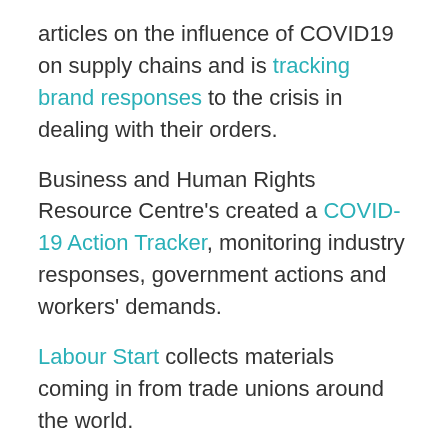articles on the influence of COVID19 on supply chains and is tracking brand responses to the crisis in dealing with their orders.
Business and Human Rights Resource Centre's created a COVID-19 Action Tracker, monitoring industry responses, government actions and workers' demands.
Labour Start collects materials coming in from trade unions around the world.
The International Trade Union Confederation collects trade union news on the COVID-19 crisis.
ICNL has a civic freedom tracker.
Omega research foundation tracks excessive use of force by law enforcement during the pandemic.
HRDN resource on business, human rights, digital rights and privacy.